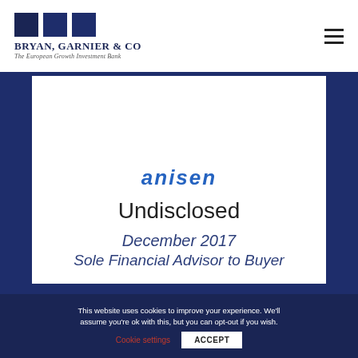[Figure (logo): Bryan, Garnier & Co logo with three dark navy squares and text 'Bryan, Garnier & Co' and tagline 'The European Growth Investment Bank']
[Figure (other): White card on dark navy background showing 'anisen' logo in blue italic text, 'Undisclosed' amount, 'December 2017', 'Sole Financial Advisor to Buyer']
Undisclosed
December 2017
Sole Financial Advisor to Buyer
This website uses cookies to improve your experience. We'll assume you're ok with this, but you can opt-out if you wish.
Cookie settings
ACCEPT